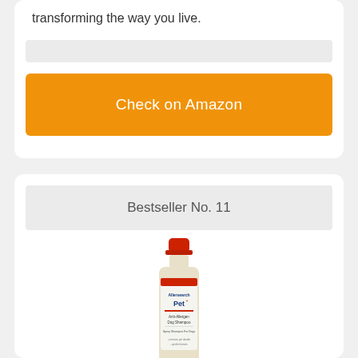transforming the way you live.
[Figure (other): Grey placeholder bar (search/input bar area)]
Check on Amazon
Bestseller No. 11
[Figure (photo): Allersearch Pet+ Anti-Allergen Dog Shampoo bottle with red cap]